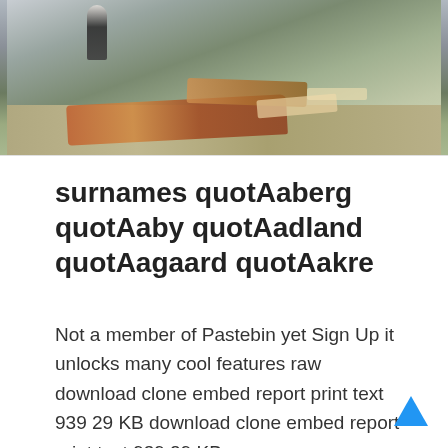[Figure (photo): Outdoor construction/demolition site with debris, rubble, and scattered materials on the ground. A figure is visible in the background near a building.]
surnames quotAaberg quotAaby quotAadland quotAagaard quotAakre
Not a member of Pastebin yet Sign Up it unlocks many cool features raw download clone embed report print text 939 29 KB download clone embed report print text 939 29 KB